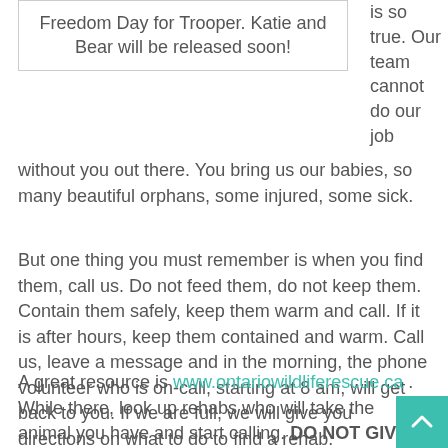Freedom Day for Trooper. Katie and Bear will be released soon!
is so true. Our team cannot do our job without you out there. You bring us our babies, so many beautiful orphans, some injured, some sick.
But one thing you must remember is when you find them, call us. Do not feed them, do not keep them. Contain them safely, keep them warm and call. If it is after hours, keep them contained and warm. Call us, leave a message and in the morning, the phone volunteer who is on-call, starting at 8 am, will get back to you. If we are full, we will give you directions on what to do to find a rehab.
A great resource is www.ontariowildliferescue.ca . While there, look up rehabs who will take the animal you have and start calling. DO NOT GIVE ANYTHING BY MOUTH. Nothing. You can do more harm than good, causing horrible consequences for that baby. Remember we are trained and